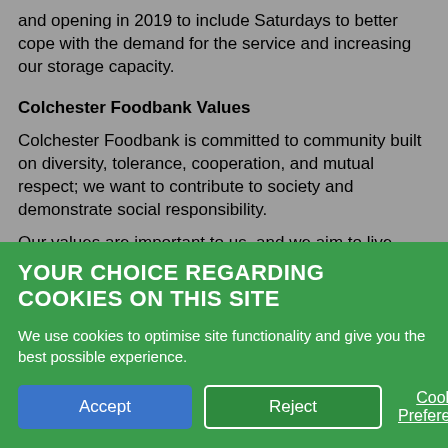and opening in 2019 to include Saturdays to better cope with the demand for the service and increasing our storage capacity.
Colchester Foodbank Values
Colchester Foodbank is committed to community built on diversity, tolerance, cooperation, and mutual respect; we want to contribute to society and demonstrate social responsibility.
Our values are important to us, and we aim to live them
YOUR CHOICE REGARDING COOKIES ON THIS SITE
We use cookies to optimise site functionality and give you the best possible experience.
Accept   Reject   Cookie Preferences   ✕